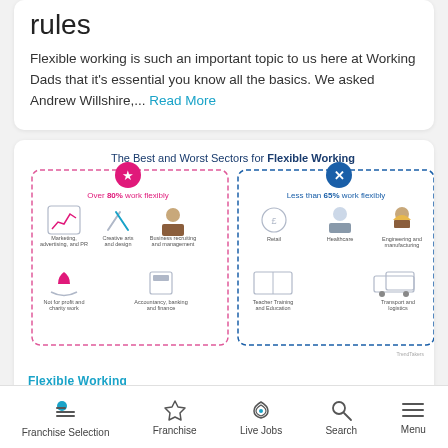rules
Flexible working is such an important topic to us here at Working Dads that it's essential you know all the basics. We asked Andrew Willshire,... Read More
[Figure (infographic): Infographic titled 'The Best and Worst Sectors for Flexible Working'. Left panel (pink dashed border, star icon): Over 80% work flexibly — sectors: Marketing, advertising, and PR; Creative arts and design; Business recruiting and management; Not for profit and charity work; Accountancy, banking and finance. Right panel (blue dashed border, X icon): Less than 65% work flexibly — sectors: Retail; Healthcare; Engineering and manufacturing; Teacher Training and Education; Transport and logistics.]
Flexible Working
What are the best careers if
Franchise Selection | Franchise | Live Jobs | Search | Menu